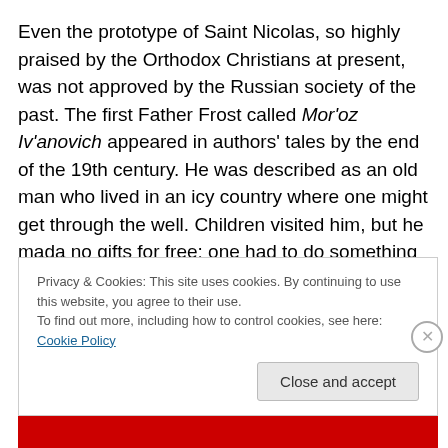Even the prototype of Saint Nicolas, so highly praised by the Orthodox Christians at present, was not approved by the Russian society of the past. The first Father Frost called Mor'oz Iv'anovich appeared in authors' tales by the end of the 19th century. He was described as an old man who lived in an icy country where one might get through the well. Children visited him, but he mada no gifts for free: one had to do something good for him to be awarded. At the same time he was kind, so even if a child did something wrong, he would award him with a piece of advice.
Privacy & Cookies: This site uses cookies. By continuing to use this website, you agree to their use.
To find out more, including how to control cookies, see here: Cookie Policy
Close and accept